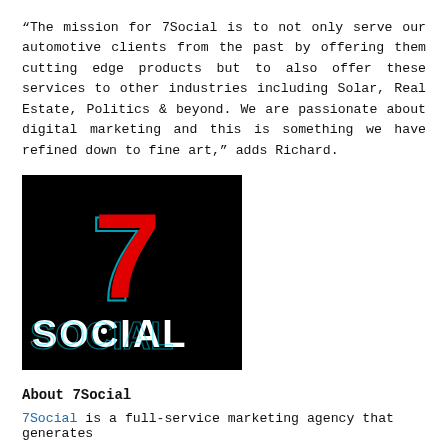“The mission for 7Social is to not only serve our automotive clients from the past by offering them cutting edge products but to also offer these services to other industries including Solar, Real Estate, Politics & beyond. We are passionate about digital marketing and this is something we have refined down to fine art,” adds Richard.
[Figure (logo): 7Social logo: black background with a large red number 7 and white bold text 'SOCIAL' below, with a cyan glitch effect on the 7.]
About 7Social
7Social is a full-service marketing agency that generates